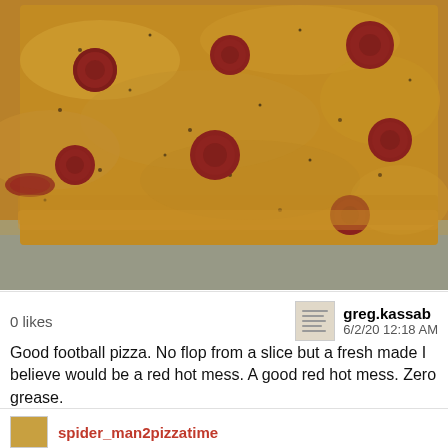[Figure (photo): Close-up photo of a square pepperoni pizza on foil, covered with melted cheese, herbs/spices, and pepperoni slices. The crust is golden brown and crispy.]
0 likes
greg.kassab
6/2/20 12:18 AM
Good football pizza. No flop from a slice but a fresh made I believe would be a red hot mess. A good red hot mess. Zero grease.
spider_man2pizzatime